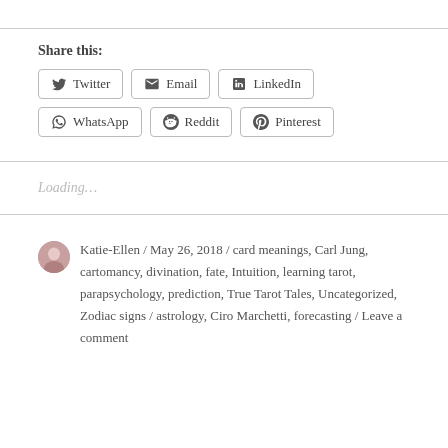Share this:
Twitter | Email | LinkedIn | WhatsApp | Reddit | Pinterest
Loading…
Katie-Ellen / May 26, 2018 / card meanings, Carl Jung, cartomancy, divination, fate, Intuition, learning tarot, parapsychology, prediction, True Tarot Tales, Uncategorized, Zodiac signs / astrology, Ciro Marchetti, forecasting / Leave a comment